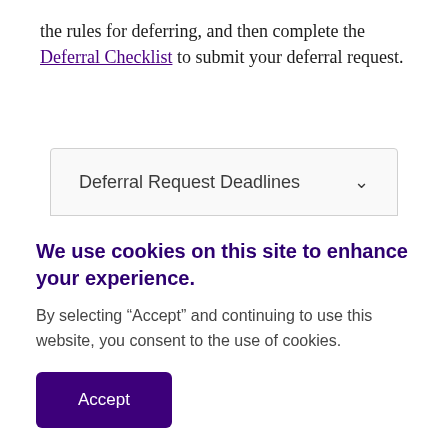the rules for deferring, and then complete the Deferral Checklist to submit your deferral request.
Deferral Request Deadlines
We use cookies on this site to enhance your experience.
By selecting “Accept” and continuing to use this website, you consent to the use of cookies.
Accept